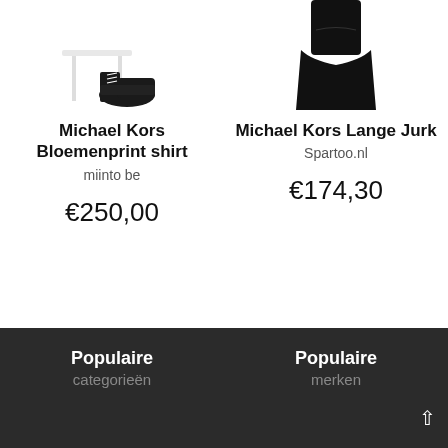[Figure (photo): Product image of shoes (Michael Kors Bloemenprint shirt) shown with white stool background, black shoes visible]
Michael Kors Bloemenprint shirt
miinto be
€250,00
[Figure (photo): Product image of black long dress (Michael Kors Lange Jurk)]
Michael Kors Lange Jurk
Spartoo.nl
€174,30
1 - van 0 resultaten
1
Populaire categorieën
Populaire merken